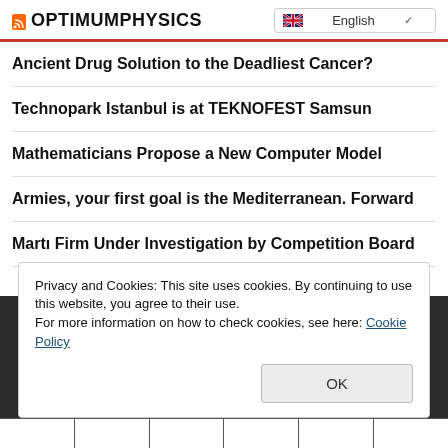OPTIMUMPHYSICS | English
Ancient Drug Solution to the Deadliest Cancer?
Technopark Istanbul is at TEKNOFEST Samsun
Mathematicians Propose a New Computer Model
Armies, your first goal is the Mediterranean. Forward
Martı Firm Under Investigation by Competition Board
Privacy and Cookies: This site uses cookies. By continuing to use this website, you agree to their use.
For more information on how to check cookies, see here: Cookie Policy